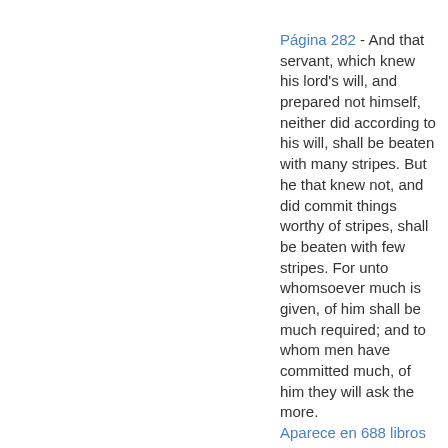Página 282 - And that servant, which knew his lord's will, and prepared not himself, neither did according to his will, shall be beaten with many stripes. But he that knew not, and did commit things worthy of stripes, shall be beaten with few stripes. For unto whomsoever much is given, of him shall be much required; and to whom men have committed much, of him they will ask the more. Aparece en 688 libros desde 1744-2008
Página 88 - Then the same day at evening,